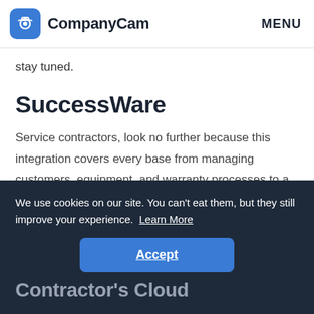CompanyCam  MENU
stay tuned.
SuccessWare
Service contractors, look no further because this integration covers every base from managing customers, equipment, and warranty processes to a full accounting system. Your CoCam pics will
We use cookies on our site. You can't eat them, but they still improve your experience. Learn More
Accept
Contractor's Cloud